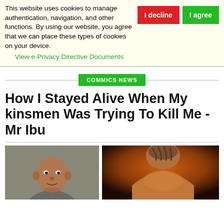This website uses cookies to manage authentication, navigation, and other functions. By using our website, you agree that we can place these types of cookies on your device.
View e-Privacy Directive Documents
COMMICS NEWS
How I Stayed Alive When My kinsmen Was Trying To Kill Me - Mr Ibu
[Figure (photo): Two photos side by side: left shows a man (Mr Ibu) facing camera in a grey shirt; right shows a person from behind in warm dramatic lighting.]